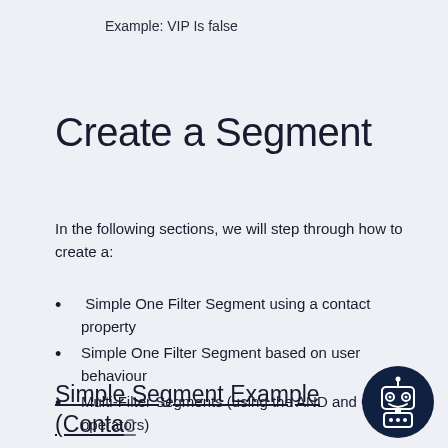Example: VIP Is false
Create a Segment
In the following sections, we will step through how to create a:
Simple One Filter Segment using a contact property
Simple One Filter Segment based on user behaviour
Multi-Filter Segments (using the AND and OR operators)
Simple Segment Example (Contact…